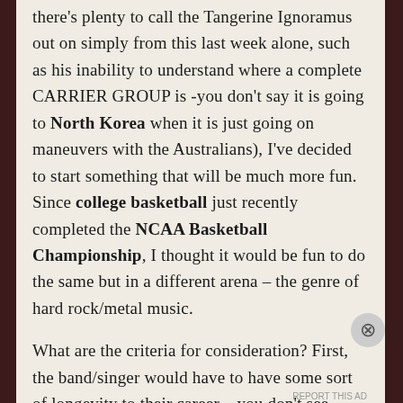there's plenty to call the Tangerine Ignoramus out on simply from this last week alone, such as his inability to understand where a complete CARRIER GROUP is -you don't say it is going to North Korea when it is just going on maneuvers with the Australians), I've decided to start something that will be much more fun. Since college basketball just recently completed the NCAA Basketball Championship, I thought it would be fun to do the same but in a different arena – the genre of hard rock/metal music.

What are the criteria for consideration? First, the band/singer would have to have some sort of longevity to their career – you don't see many
Advertisements
[Figure (other): WordPress advertisement banner with text 'Opinions. We all have them!' and WordPress logo circle alongside a smaller news logo circle, on a dark navy background.]